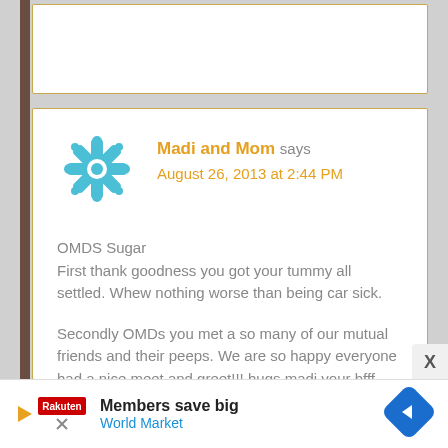[Figure (screenshot): Top portion of a blog comment card, partially cut off, with a golden/tan border on white background.]
Madi and Mom says
August 26, 2013 at 2:44 PM

OMDS Sugar
First thank goodness you got your tummy all settled. Whew nothing worse than being car sick.

Secondly OMDs you met a so many of our mutual friends and their peeps. We are so happy everyone had a nice meet and greet!!! hugs madi your bfff
Members save big
World Market